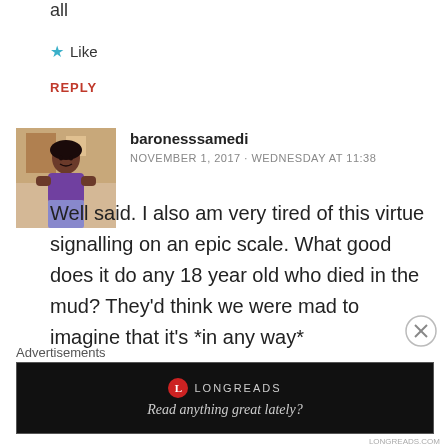all
★ Like
REPLY
[Figure (photo): Avatar photo of baronesssamedi, a person in a purple top in a kitchen setting]
baronesssamedi
NOVEMBER 1, 2017 - WEDNESDAY AT 11:38
Well said. I also am very tired of this virtue signalling on an epic scale. What good does it do any 18 year old who died in the mud? They'd think we were mad to imagine that it's *in any way*
Advertisements
[Figure (screenshot): Longreads advertisement banner: logo and tagline 'Read anything great lately?']